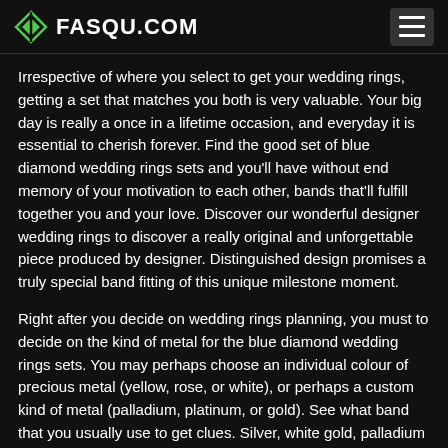FASQU.COM
Irrespective of where you select to get your wedding rings, getting a set that matches you both is very valuable. Your big day is really a once in a lifetime occasion, and everyday it is essential to cherish forever. Find the good set of blue diamond wedding rings sets and you'll have without end memory of your motivation to each other, bands that'll fulfill together you and your love. Discover our wonderful designer wedding rings to discover a really original and unforgettable piece produced by designer. Distinguished design promises a truly special band fitting of this unique milestone moment.
Right after you decide on wedding rings planning, you must to decide on the kind of metal for the blue diamond wedding rings sets. You may perhaps choose an individual colour of precious metal (yellow, rose, or white), or perhaps a custom kind of metal (palladium, platinum, or gold). See what band that you usually use to get clues. Silver, white gold, palladium and platinum are common achromatic as well as pretty much identical in shade. For a rose or pink color, select rose gold. To get a golden look, choose